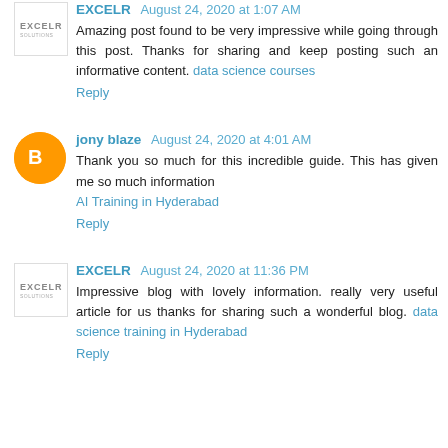EXCELR August 24, 2020 at 1:07 AM
Amazing post found to be very impressive while going through this post. Thanks for sharing and keep posting such an informative content. data science courses
Reply
jony blaze August 24, 2020 at 4:01 AM
Thank you so much for this incredible guide. This has given me so much information AI Training in Hyderabad
Reply
EXCELR August 24, 2020 at 11:36 PM
Impressive blog with lovely information. really very useful article for us thanks for sharing such a wonderful blog. data science training in Hyderabad
Reply